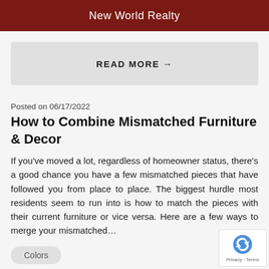New World Realty
READ MORE →
Posted on 06/17/2022
How to Combine Mismatched Furniture & Decor
If you've moved a lot, regardless of homeowner status, there's a good chance you have a few mismatched pieces that have followed you from place to place. The biggest hurdle most residents seem to run into is how to match the pieces with their current furniture or vice versa. Here are a few ways to merge your mismatched…
Colors
Decor